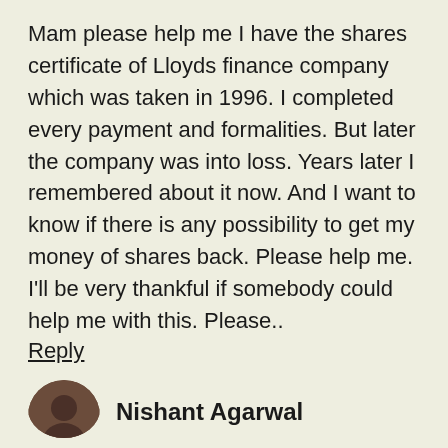Mam please help me I have the shares certificate of Lloyds finance company which was taken in 1996. I completed every payment and formalities. But later the company was into loss. Years later I remembered about it now. And I want to know if there is any possibility to get my money of shares back. Please help me. I'll be very thankful if somebody could help me with this. Please..
Reply
Nishant Agarwal